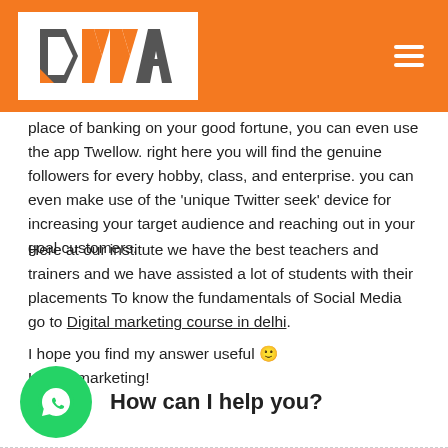DMMA logo and navigation header
place of banking on your good fortune, you can even use the app Twellow. right here you will find the genuine followers for every hobby, class, and enterprise. you can even make use of the 'unique Twitter seek' device for increasing your target audience and reaching out in your goal customers.
Here at our institute we have the best teachers and trainers and we have assisted a lot of students with their placements To know the fundamentals of Social Media go to Digital marketing course in delhi.
I hope you find my answer useful 🙂
Happy marketing!
[Figure (logo): WhatsApp chat widget button with 'How can I help you?' text]